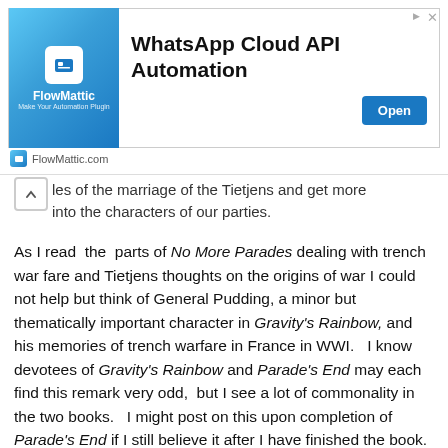[Figure (screenshot): Advertisement banner for FlowMattic — WhatsApp Cloud API Automation with Open button and FlowMattic.com footer]
...les of the marriage of the Tietjens and get more insight into the characters of our parties.
As I read the parts of No More Parades dealing with trench war fare and Tietjens thoughts on the origins of war I could not help but think of General Pudding, a minor but thematically important character in Gravity's Rainbow, and his memories of trench warfare in France in WWI. I know devotees of Gravity's Rainbow and Parade's End may each find this remark very odd, but I see a lot of commonality in the two books. I might post on this upon completion of Parade's End if I still believe it after I have finished the book.
There are a number of interesting references to the 18th century in this section. Tietjens also makes another one of his wonderful literary epigrams in declaring that there no English literature of value written subsequent to the 17th century. Here is how his wife Sylvia described the head of